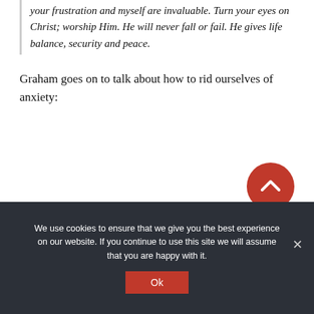your frustration and myself are invaluable. Turn your eyes on Christ; worship Him. He will never fall or fail. He gives life balance, security and peace.
Graham goes on to talk about how to rid ourselves of anxiety:
We use cookies to ensure that we give you the best experience on our website. If you continue to use this site we will assume that you are happy with it.
Ok